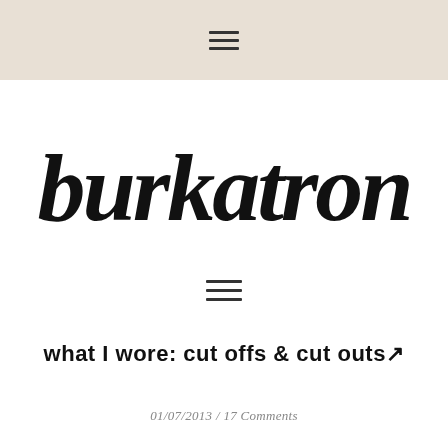☰
burkatron
[Figure (other): Hamburger menu icon (three horizontal lines) centered on white background]
what I wore: cut offs & cut outs↗
01/07/2013 / 17 Comments